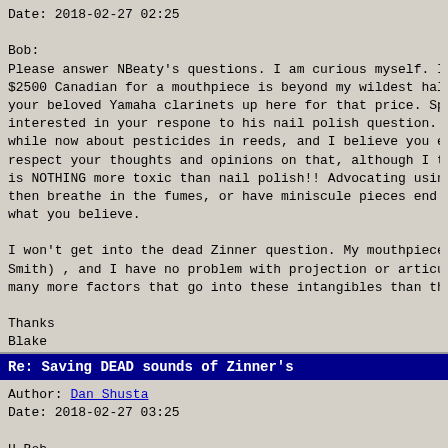Date:   2018-02-27 02:25

Bob:
Please answer NBeaty's questions. I am curious myself. I Don $2500 Canadian for a mouthpiece is beyond my wildest halluci your beloved Yamaha clarinets up here for that price. Speaki interested in your respone to his nail polish question. I ha while now about pesticides in reeds, and I believe you even respect your thoughts and opinions on that, although I think is NOTHING more toxic than nail polish!! Advocating using na then breathe in the fumes, or have miniscule pieces end up i what you believe.

I won't get into the dead Zinner question. My mouthpieces ar Smith) , and I have no problem with projection or articulati many more factors that go into these intangibles than the mo

Thanks
Blake
Re: Saving DEAD sounds of Zinner's
Author:  Dan Shusta
Date:    2018-02-27 03:25

H Bob,

A quote from "The Doctor" included in the thread listed belo because there seems to be some cache associated with mouthpi milled from rod rubber stock. Zinner, Babbit, and other qual